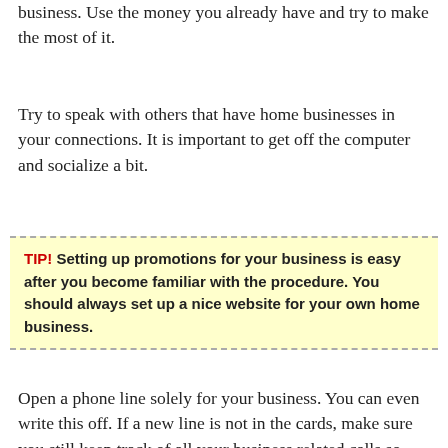business. Use the money you already have and try to make the most of it.
Try to speak with others that have home businesses in your connections. It is important to get off the computer and socialize a bit.
TIP! Setting up promotions for your business is easy after you become familiar with the procedure. You should always set up a nice website for your own home business.
Open a phone line solely for your business. You can even write this off. If a new line is not in the cards, make sure you still keep track of all your business related calls so that you can deduct a portion of your phone account.
Don't do personal chores with your home business